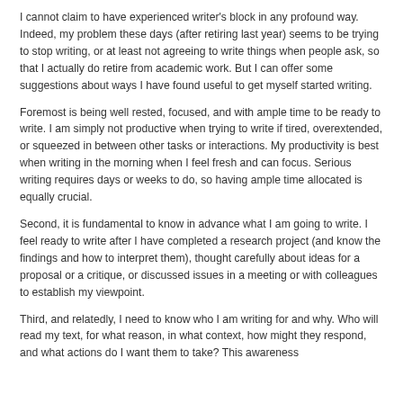I cannot claim to have experienced writer's block in any profound way. Indeed, my problem these days (after retiring last year) seems to be trying to stop writing, or at least not agreeing to write things when people ask, so that I actually do retire from academic work. But I can offer some suggestions about ways I have found useful to get myself started writing.
Foremost is being well rested, focused, and with ample time to be ready to write. I am simply not productive when trying to write if tired, overextended, or squeezed in between other tasks or interactions. My productivity is best when writing in the morning when I feel fresh and can focus. Serious writing requires days or weeks to do, so having ample time allocated is equally crucial.
Second, it is fundamental to know in advance what I am going to write. I feel ready to write after I have completed a research project (and know the findings and how to interpret them), thought carefully about ideas for a proposal or a critique, or discussed issues in a meeting or with colleagues to establish my viewpoint.
Third, and relatedly, I need to know who I am writing for and why. Who will read my text, for what reason, in what context, how might they respond, and what actions do I want them to take? This awareness